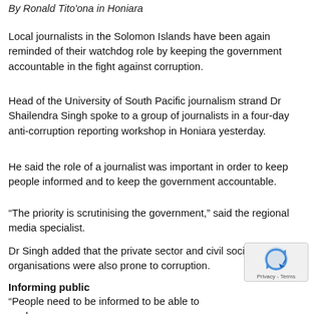By Ronald Tito'ona in Honiara
Local journalists in the Solomon Islands have been again reminded of their watchdog role by keeping the government accountable in the fight against corruption.
Head of the University of South Pacific journalism strand Dr Shailendra Singh spoke to a group of journalists in a four-day anti-corruption reporting workshop in Honiara yesterday.
He said the role of a journalist was important in order to keep people informed and to keep the government accountable.
“The priority is scrutinising the government,” said the regional media specialist.
Dr Singh added that the private sector and civil society organisations were also prone to corruption.
Informing public
“People need to be informed to be able to analyse government performance, because we have elections every 4 to 5 years